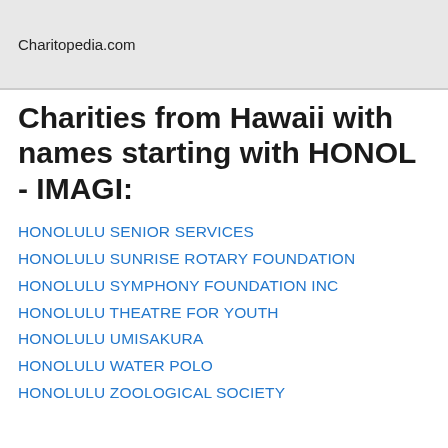Charitopedia.com
Charities from Hawaii with names starting with HONOL - IMAGI:
HONOLULU SENIOR SERVICES
HONOLULU SUNRISE ROTARY FOUNDATION
HONOLULU SYMPHONY FOUNDATION INC
HONOLULU THEATRE FOR YOUTH
HONOLULU UMISAKURA
HONOLULU WATER POLO
HONOLULU ZOOLOGICAL SOCIETY